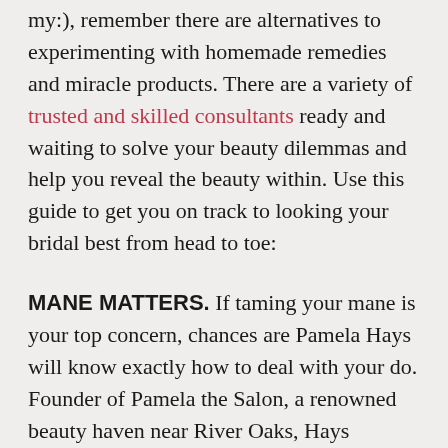my:), remember there are alternatives to experimenting with homemade remedies and miracle products. There are a variety of trusted and skilled consultants ready and waiting to solve your beauty dilemmas and help you reveal the beauty within. Use this guide to get you on track to looking your bridal best from head to toe:
MANE MATTERS. If taming your mane is your top concern, chances are Pamela Hays will know exactly how to deal with your do. Founder of Pamela the Salon, a renowned beauty haven near River Oaks, Hays specializes in pampering the bride-to-be. From advanced color design, delightful updo's and styles to permanents and straightening, Hays works